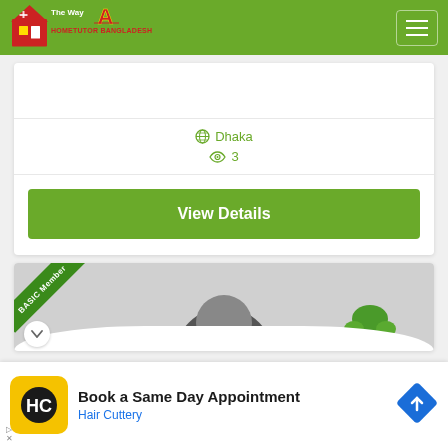[Figure (logo): HomeTutor Bangladesh logo with red house and green text on green header bar]
Dhaka
3
View Details
[Figure (photo): Profile photo partially visible with Basic Member green ribbon badge in top-left corner]
Book a Same Day Appointment
Hair Cuttery